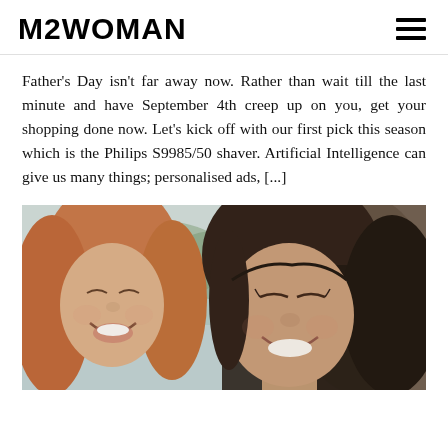M2WOMAN
Father's Day isn't far away now. Rather than wait till the last minute and have September 4th creep up on you, get your shopping done now. Let's kick off with our first pick this season which is the Philips S9985/50 shaver. Artificial Intelligence can give us many things; personalised ads, [...]
[Figure (photo): Two young women smiling and laughing outdoors, photographed in close-up with a blurred background showing water and greenery.]